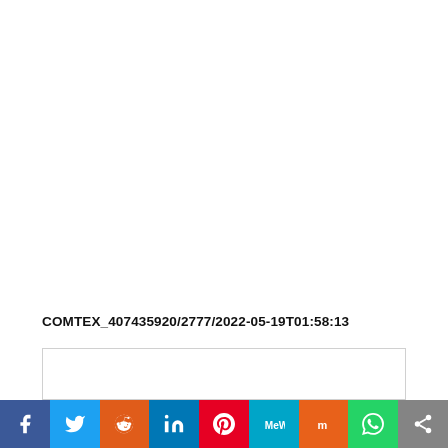COMTEX_407435920/2777/2022-05-19T01:58:13
[Figure (other): User avatar placeholder with grey background and silhouette icon]
Social share bar: Facebook, Twitter, Reddit, LinkedIn, Pinterest, MeWe, Mix, WhatsApp, Share